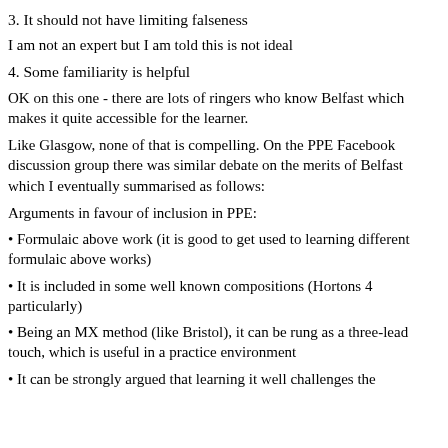3. It should not have limiting falseness
I am not an expert but I am told this is not ideal
4. Some familiarity is helpful
OK on this one - there are lots of ringers who know Belfast which makes it quite accessible for the learner.
Like Glasgow, none of that is compelling. On the PPE Facebook discussion group there was similar debate on the merits of Belfast which I eventually summarised as follows:
Arguments in favour of inclusion in PPE:
Formulaic above work (it is good to get used to learning different formulaic above works)
It is included in some well known compositions (Hortons 4 particularly)
Being an MX method (like Bristol), it can be rung as a three-lead touch, which is useful in a practice environment
It can be strongly argued that learning it well challenges the...